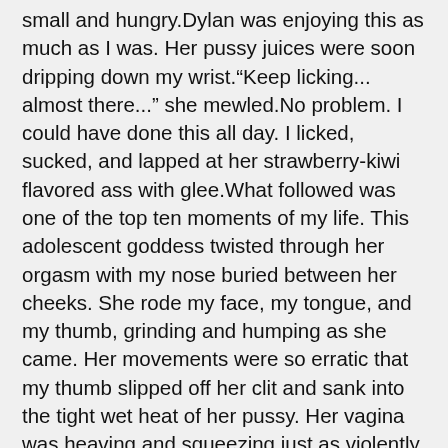small and hungry.Dylan was enjoying this as much as I was. Her pussy juices were soon dripping down my wrist.“Keep licking... almost there...” she mewled.No problem. I could have done this all day. I licked, sucked, and lapped at her strawberry-kiwi flavored ass with glee.What followed was one of the top ten moments of my life. This adolescent goddess twisted through her orgasm with my nose buried between her cheeks. She rode my face, my tongue, and my thumb, grinding and humping as she came. Her movements were so erratic that my thumb slipped off her clit and sank into the tight wet heat of her pussy. Her vagina was heaving and squeezing just as violently as her asshole nipping at my tongue.“Gaaaaaah,” she wailed and came harder.I almost blew off in my pants. This girl seriously liked getting her salad tossed.Dylan finally let go of my hair and slumped limply on the kitchen table, panting to catch her breath.I was standing up and rubbing my